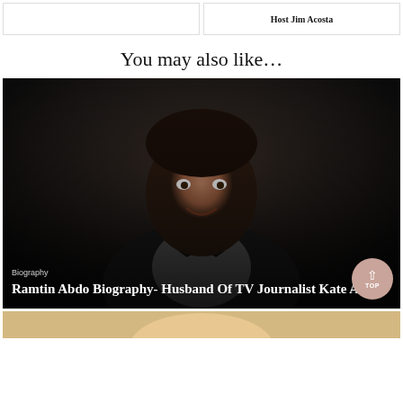Host Jim Acosta
You may also like…
[Figure (photo): Man in tuxedo with bow tie, dark background, with overlay text: Biography / Ramtin Abdo Biography- Husband Of TV Journalist Kate Abdo]
Ramtin Abdo Biography- Husband Of TV Journalist Kate Abdo
[Figure (photo): Partial view of blonde person at bottom of page]